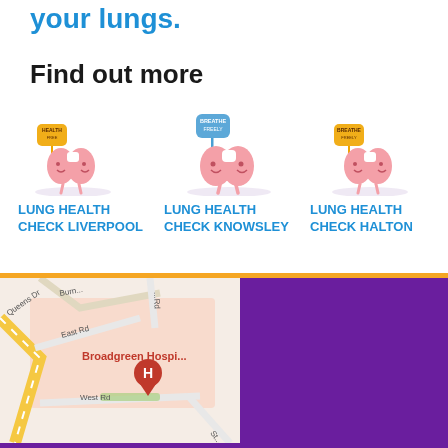your lungs.
Find out more
[Figure (illustration): Three illustrated lung character mascots holding signs, arranged in a row above three lung health check links]
LUNG HEALTH CHECK LIVERPOOL
LUNG HEALTH CHECK KNOWSLEY
LUNG HEALTH CHECK HALTON
[Figure (map): Google Maps showing Broadgreen Hospital area with East Rd, West Rd, Queens Dr, and a hospital marker pin]